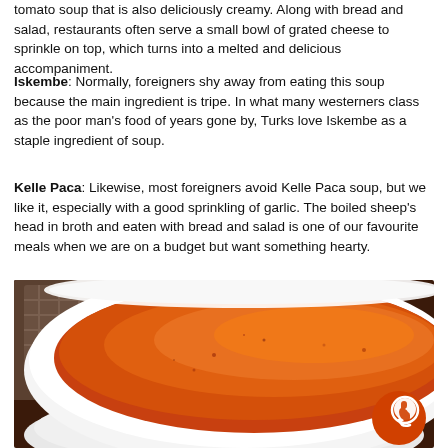tomato soup that is also deliciously creamy. Along with bread and salad, restaurants often serve a small bowl of grated cheese to sprinkle on top, which turns into a melted and delicious accompaniment.
Iskembe: Normally, foreigners shy away from eating this soup because the main ingredient is tripe. In what many westerners class as the poor man’s food of years gone by, Turks love Iskembe as a staple ingredient of soup.
Kelle Paca: Likewise, most foreigners avoid Kelle Paca soup, but we like it, especially with a good sprinkling of garlic. The boiled sheep’s head in broth and eaten with bread and salad is one of our favourite meals when we are on a budget but want something hearty.
[Figure (photo): Close-up photo of a white bowl filled with orange-red tomato soup, with a wicker basket blurred in the background on a dark wooden table. A chat/phone icon overlay appears in the bottom-right corner.]